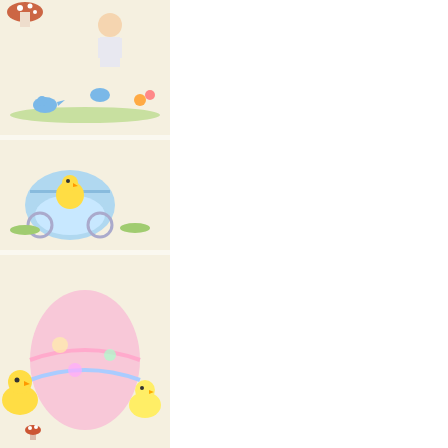[Figure (illustration): Cross stitch pattern illustration showing Easter themed images: chicks, decorated eggs, a baby carriage with chicks, birds, and floral elements. Multiple panels visible stacked vertically on the left side. Bottom of image has a teal/turquoise border strip.]
56 - Anonymous - Cross stitch Patterns Repaint
nses Parisiennes - LBP Etude aux Agrumes by V. Enginger XSD
305 Visit
[Figure (photo): Photo of a cross stitch pattern book or finished piece showing botanical/citrus illustration with orange flowers and branches. Book cover reads GRIMES and has decorative botanical artwork.]